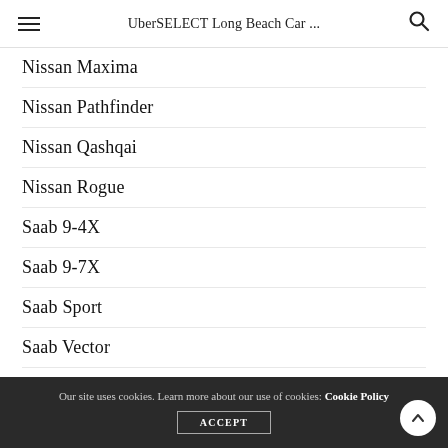UberSELECT Long Beach Car ...
Nissan Maxima
Nissan Pathfinder
Nissan Qashqai
Nissan Rogue
Saab 9-4X
Saab 9-7X
Saab Sport
Saab Vector
Toyota 4Runner
Toyota Avalon
Our site uses cookies. Learn more about our use of cookies: Cookie Policy  ACCEPT